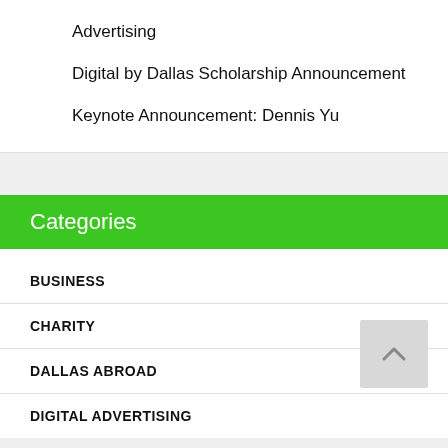Advertising
Digital by Dallas Scholarship Announcement
Keynote Announcement: Dennis Yu
Categories
BUSINESS
CHARITY
DALLAS ABROAD
DIGITAL ADVERTISING